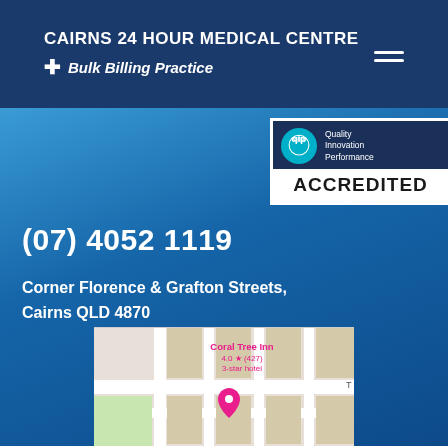CAIRNS 24 HOUR MEDICAL CENTRE
✚ Bulk Billing Practice
[Figure (logo): QIP Quality Innovation Performance ACCREDITED badge/logo]
(07) 4052 1119
Corner Florence & Grafton Streets, Cairns QLD 4870
[Figure (map): Google Maps screenshot showing location near Coral Tree Inn, 4.0 star (427 reviews), 3-star hotel]